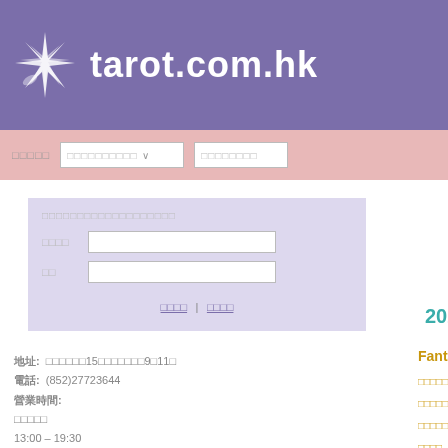tarot.com.hk
□□□□□ □□□□□□□□□□ ∨ □□□□□□□□
□□□□□□□□□□□□□□□□□□□
□□□□ [input] □□ [input]
□□□□ | □□□□
2020-01-01
地址: □□□□□□15□□□□□□□□9□11□
電話: (852)27723644
營業時間:
□□□□□
13:00 – 19:30
Fantastical Creatures Tarot
□□□□□□□□□□□□□□□□□□□□□□□□□□□□□□□
□□□□□□□□□□□□□□□
□□□□□□□□
□□□□